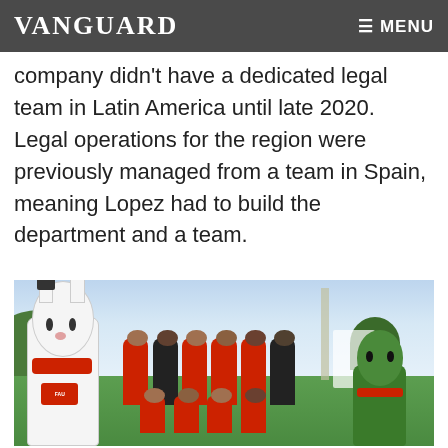VANGUARD   ≡ MENU
While it's been in the region for five years, the company didn't have a dedicated legal team in Latin America until late 2020. Legal operations for the region were previously managed from a team in Spain, meaning Lopez had to build the department and a team.
[Figure (photo): Group photo on a football pitch. A large white inflatable rabbit mascot stands on the left, a group of people wearing red jerseys and face masks stand in the center, and a green mascot figure stands on the right. Sky and green hills are visible in the background.]